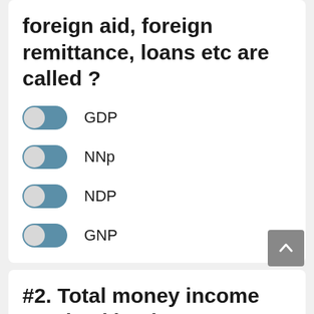foreign aid, foreign remittance, loans etc are called ?
GDP
NNp
NDP
GNP
#2. Total money income received by the